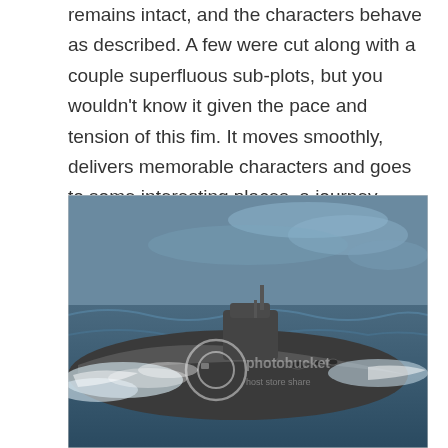remains intact, and the characters behave as described. A few were cut along with a couple superfluous sub-plots, but you wouldn't know it given the pace and tension of this fim. It moves smoothly, delivers memorable characters and goes to some interesting places, a journey unhindered by the minutae of submarine warfare.
[Figure (photo): Black and white photograph of a large submarine (likely a Soviet/Russian nuclear submarine) surfacing or traveling on rough ocean water, with wake and white foam visible around the hull. A Photobucket watermark is overlaid on the image with text 'host store share'.]